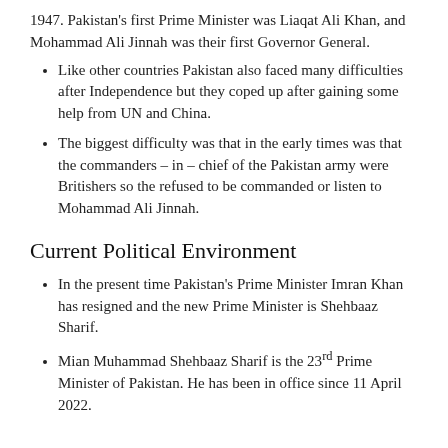1947. Pakistan's first Prime Minister was Liaqat Ali Khan, and Mohammad Ali Jinnah was their first Governor General.
Like other countries Pakistan also faced many difficulties after Independence but they coped up after gaining some help from UN and China.
The biggest difficulty was that in the early times was that the commanders – in – chief of the Pakistan army were Britishers so the refused to be commanded or listen to Mohammad Ali Jinnah.
Current Political Environment
In the present time Pakistan's Prime Minister Imran Khan has resigned and the new Prime Minister is Shehbaaz Sharif.
Mian Muhammad Shehbaaz Sharif is the 23rd Prime Minister of Pakistan. He has been in office since 11 April 2022.